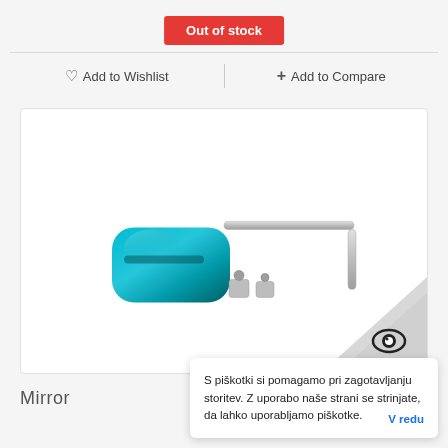Out of stock
♡ Add to Wishlist
+ Add to Compare
[Figure (photo): A blue anodized metal gear shift knob accessory with silver adapter fittings and an L-shaped metal rod/adapter, shown on white background.]
Mirror
S piškotki si pomagamo pri zagotavljanju storitev. Z uporabo naše strani se strinjate, da lahko uporabljamo piškotke.   V redu